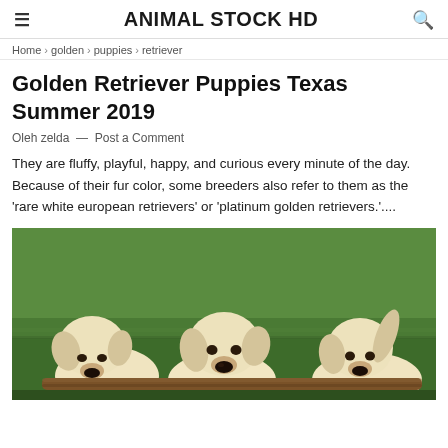ANIMAL STOCK HD
Home › golden › puppies › retriever
Golden Retriever Puppies Texas Summer 2019
Oleh zelda — Post a Comment
They are fluffy, playful, happy, and curious every minute of the day. Because of their fur color, some breeders also refer to them as the 'rare white european retrievers' or 'platinum golden retrievers.'....
[Figure (photo): Three white/cream golden retriever puppies resting their heads on a stick or log outdoors on green grass]